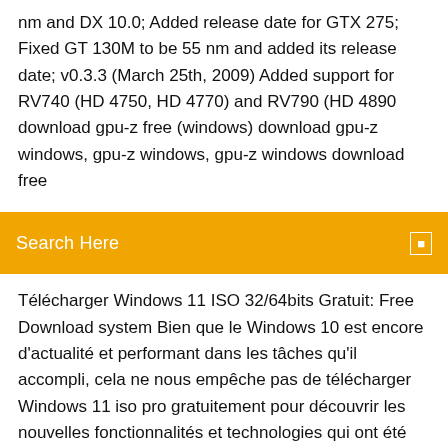nm and DX 10.0; Added release date for GTX 275; Fixed GT 130M to be 55 nm and added its release date; v0.3.3 (March 25th, 2009) Added support for RV740 (HD 4750, HD 4770) and RV790 (HD 4890 download gpu-z free (windows) download gpu-z windows, gpu-z windows, gpu-z windows download free
[Figure (other): Orange search bar with text 'Search Here' and a small search icon on the right]
Télécharger Windows 11 ISO 32/64bits Gratuit: Free Download system Bien que le Windows 10 est encore d'actualité et performant dans les tâches qu'il accompli, cela ne nous empêche pas de télécharger Windows 11 iso pro gratuitement pour découvrir les nouvelles fonctionnalités et technologies qui ont été implémenter dans ce système. Download GPU-Z 2.31.0 for Windows PC - softpedia 13/03/2020 · Free. 5 screenshots: portable version A portable version of this application is available: GPU-Z Portable runs on: Windows 10 32/64 bit Windows 8 32/64 bit Windows 7 32/64 bit Wind...